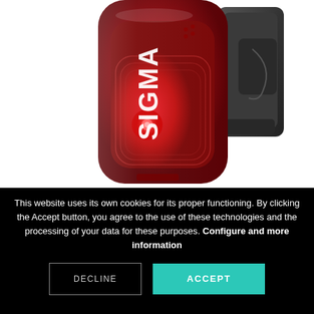[Figure (photo): Close-up photo of a red Sigma bicycle rear light with the SIGMA logo visible on the side and a red LED glowing. A black mounting clip is visible on the right side. White background.]
This website uses its own cookies for its proper functioning. By clicking the Accept button, you agree to the use of these technologies and the processing of your data for these purposes. Configure and more information
DECLINE
ACCEPT